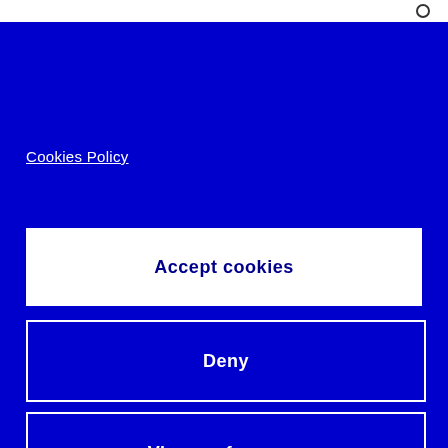Cookies Policy
Accept cookies
Deny
View preferences